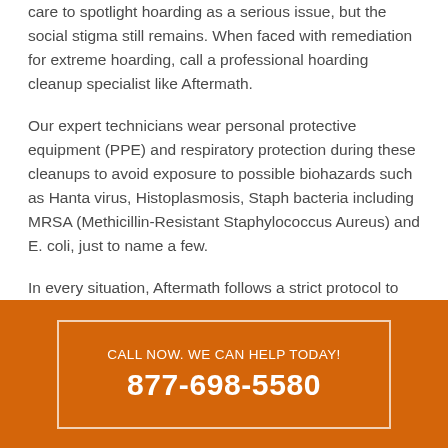care to spotlight hoarding as a serious issue, but the social stigma still remains. When faced with remediation for extreme hoarding, call a professional hoarding cleanup specialist like Aftermath.
Our expert technicians wear personal protective equipment (PPE) and respiratory protection during these cleanups to avoid exposure to possible biohazards such as Hanta virus, Histoplasmosis, Staph bacteria including MRSA (Methicillin-Resistant Staphylococcus Aureus) and E. coli, just to name a few.
In every situation, Aftermath follows a strict protocol to ensure proper removal and disinfection of biohazardous materials while adhering to local, state, and federal regulations. We understand these are sensitive situations,
CALL NOW. WE CAN HELP TODAY!
877-698-5580